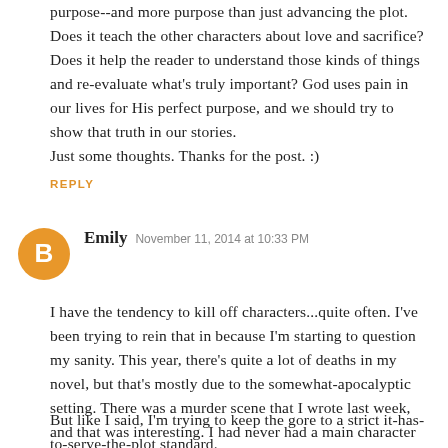purpose--and more purpose than just advancing the plot. Does it teach the other characters about love and sacrifice? Does it help the reader to understand those kinds of things and re-evaluate what's truly important? God uses pain in our lives for His perfect purpose, and we should try to show that truth in our stories.
Just some thoughts. Thanks for the post. :)
REPLY
Emily  November 11, 2014 at 10:33 PM
I have the tendency to kill off characters...quite often. I've been trying to rein that in because I'm starting to question my sanity. This year, there's quite a lot of deaths in my novel, but that's mostly due to the somewhat-apocalyptic setting. There was a murder scene that I wrote last week, and that was interesting. I had never had a main character kill someone before.
But like I said, I'm trying to keep the gore to a strict it-has-to-serve-the-plot standard.